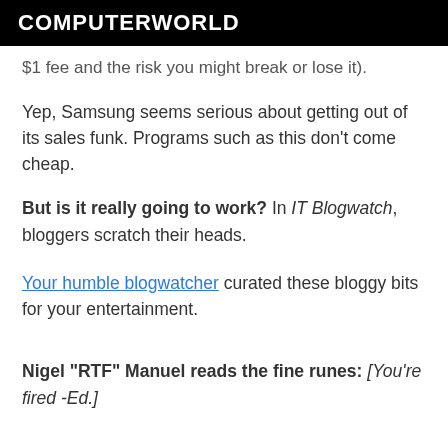COMPUTERWORLD
$1 fee and the risk you might break or lose it).
Yep, Samsung seems serious about getting out of its sales funk. Programs such as this don't come cheap.
But is it really going to work? In IT Blogwatch, bloggers scratch their heads.
Your humble blogwatcher curated these bloggy bits for your entertainment.
Nigel "RTF" Manuel reads the fine runes: [You're fired -Ed.]